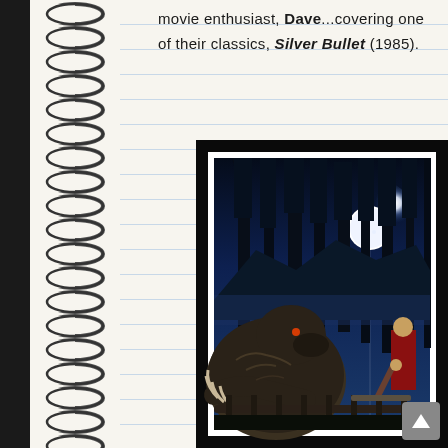movie enthusiast, Dave...covering one of their classics, Silver Bullet (1985).
[Figure (photo): Movie poster or artwork for Silver Bullet (1985) showing a werewolf creature with claws on a fence/railing in the foreground, dark forest with tall trees in the background, and a bright full moon in the upper right. The scene is set at night with deep blue tones. On the right side, a person holds what appears to be a weapon. The image has a white border/frame effect.]